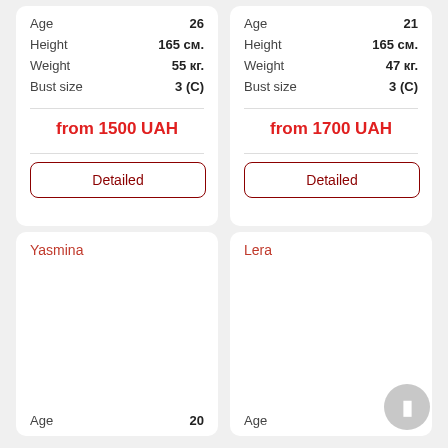| Field | Value |
| --- | --- |
| Age | 26 |
| Height | 165 см. |
| Weight | 55 кг. |
| Bust size | 3 (C) |
from 1500 UAH
Detailed
| Field | Value |
| --- | --- |
| Age | 21 |
| Height | 165 см. |
| Weight | 47 кг. |
| Bust size | 3 (C) |
from 1700 UAH
Detailed
Yasmina
Age  20
Lera
Age  33